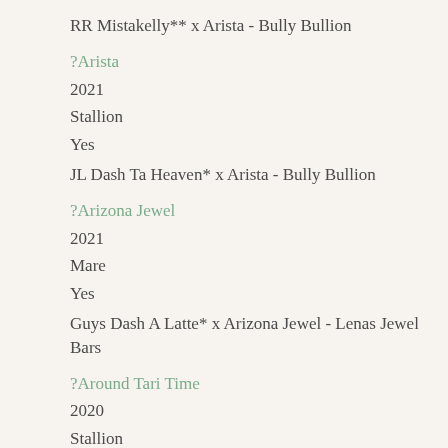RR Mistakelly** x Arista - Bully Bullion
?Arista
2021
Stallion
Yes
JL Dash Ta Heaven* x Arista - Bully Bullion
?Arizona Jewel
2021
Mare
Yes
Guys Dash A Latte* x Arizona Jewel - Lenas Jewel Bars
?Around Tari Time
2020
Stallion
Yes